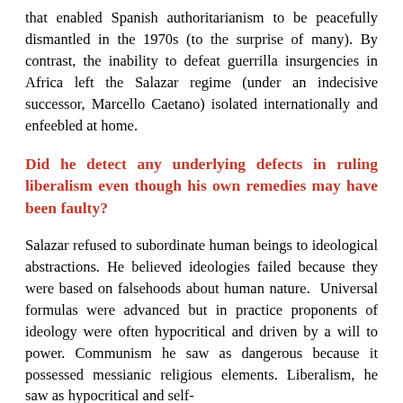that enabled Spanish authoritarianism to be peacefully dismantled in the 1970s (to the surprise of many). By contrast, the inability to defeat guerrilla insurgencies in Africa left the Salazar regime (under an indecisive successor, Marcello Caetano) isolated internationally and enfeebled at home.
Did he detect any underlying defects in ruling liberalism even though his own remedies may have been faulty?
Salazar refused to subordinate human beings to ideological abstractions. He believed ideologies failed because they were based on falsehoods about human nature. Universal formulas were advanced but in practice proponents of ideology were often hypocritical and driven by a will to power. Communism he saw as dangerous because it possessed messianic religious elements. Liberalism, he saw as hypocritical and self-